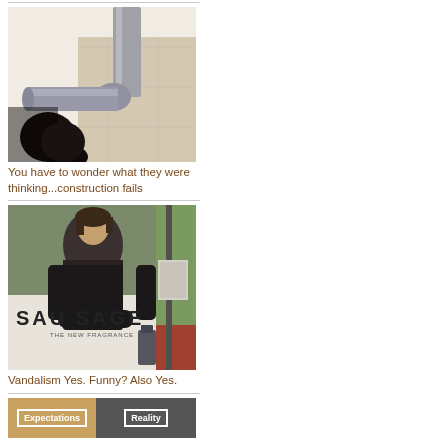[Figure (photo): Gray PVC pipe making an unusual bend/connection on a white wall with tile background - construction fail photo]
You have to wonder what they were thinking...construction fails
[Figure (photo): Billboard advertisement vandalized to read 'SAUSAGE - The New Fragrance' with a man posing like a cologne ad]
Vandalism Yes. Funny? Also Yes.
[Figure (photo): Two-panel image showing 'Expectations' on left and 'Reality' on right]